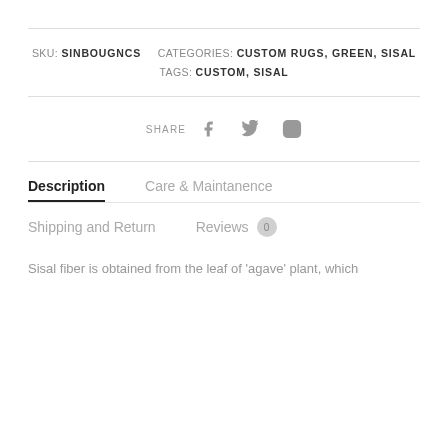SKU: SINBOUGNCS   CATEGORIES: CUSTOM RUGS, GREEN, SISAL   TAGS: CUSTOM, SISAL
SHARE (Facebook, Twitter, Instagram icons)
Description | Care & Maintanence | Shipping and Return | Reviews 0
Sisal fiber is obtained from the leaf of 'agave' plant, which